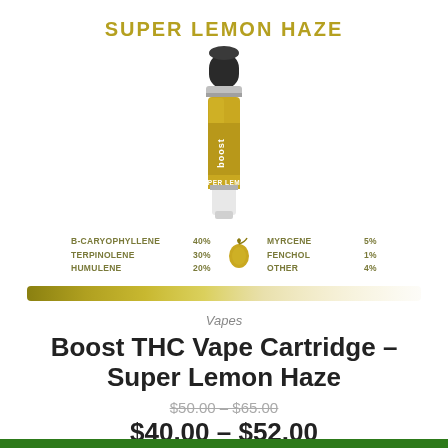SUPER LEMON HAZE
[Figure (photo): A Boost THC vape cartridge with golden/amber oil, black mouthpiece cap, and 'boost' branding on the label showing 'PER LEM' (Super Lemon Haze) text.]
B-CARYOPHYLLENE 40%  MYRCENE 5%
TERPINOLENE 30%  FENCHOL 1%
HUMULENE 20%  OTHER 4%
[Figure (infographic): A horizontal color gradient bar ranging from dark olive/golden-green on the left to light cream/pale yellow on the right, showing terpene intensity spectrum.]
Vapes
Boost THC Vape Cartridge – Super Lemon Haze
$50.00 – $65.00
$40.00 – $52.00